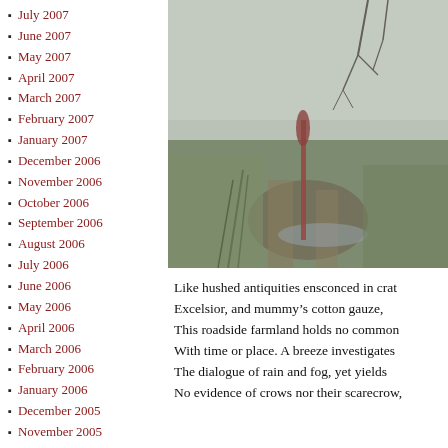July 2007
June 2007
May 2007
April 2007
March 2007
February 2007
January 2007
December 2006
November 2006
October 2006
September 2006
August 2006
July 2006
June 2006
May 2006
April 2006
March 2006
February 2006
January 2006
December 2005
November 2005
[Figure (photo): A misty, foggy farmland road scene with bare tree branches at top, muddy tire tracks, green grass fields fading into grey fog, and a red plant stem in the foreground.]
Like hushed antiquities ensconced in crat
Excelsior, and mummy's cotton gauze,
This roadside farmland holds no common
With time or place. A breeze investigates
The dialogue of rain and fog, yet yields
No evidence of crows nor their scarecrow,